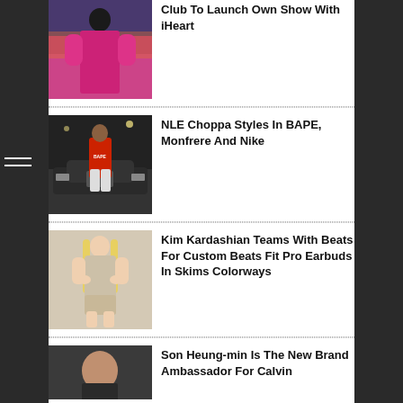[Figure (photo): Woman in pink dress, news thumbnail]
Club To Launch Own Show With iHeart
[Figure (photo): NLE Choppa in red BAPE hoodie next to Rolls Royce]
NLE Choppa Styles In BAPE, Monfrere And Nike
[Figure (photo): Kim Kardashian in beige outfit, promotional photo]
Kim Kardashian Teams With Beats For Custom Beats Fit Pro Earbuds In Skims Colorways
[Figure (photo): Son Heung-min portrait photo]
Son Heung-min Is The New Brand Ambassador For Calvin